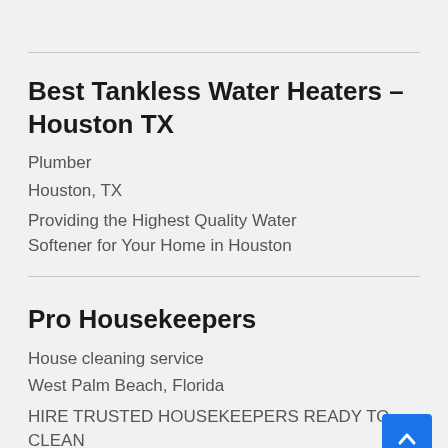Best Tankless Water Heaters – Houston TX
Plumber
Houston, TX
Providing the Highest Quality Water Softener for Your Home in Houston
Pro Housekeepers
House cleaning service
West Palm Beach, Florida
HIRE TRUSTED HOUSEKEEPERS READY TO CLEAN